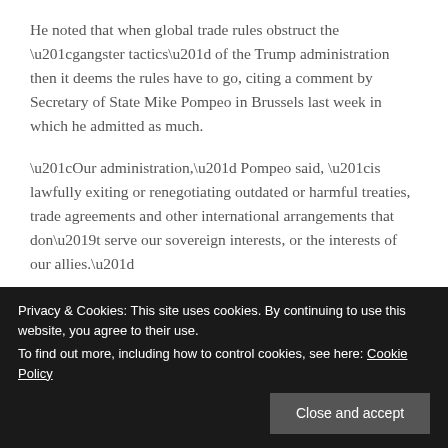He noted that when global trade rules obstruct the “gangster tactics” of the Trump administration then it deems the rules have to go, citing a comment by Secretary of State Mike Pompeo in Brussels last week in which he admitted as much.
“Our administration,” Pompeo said, “is lawfully exiting or renegotiating outdated or harmful treaties, trade agreements and other international arrangements that don’t serve our sovereign interests, or the interests of our allies.”
Pointing to the unilateral decision of the US to reject the decision of the UN Security Council to lift all bans o…
Privacy & Cookies: This site uses cookies. By continuing to use this website, you agree to their use.
To find out more, including how to control cookies, see here: Cookie Policy